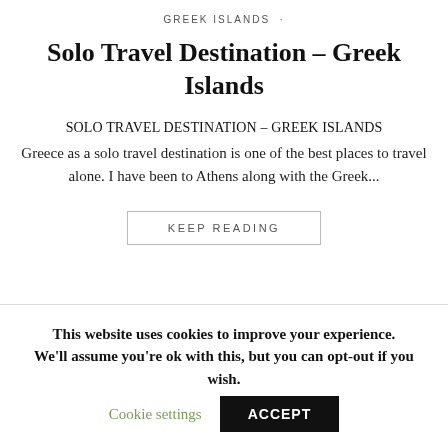GREEK ISLANDS
Solo Travel Destination – Greek Islands
SOLO TRAVEL DESTINATION – GREEK ISLANDS
Greece as a solo travel destination is one of the best places to travel alone. I have been to Athens along with the Greek...
KEEP READING
This website uses cookies to improve your experience. We'll assume you're ok with this, but you can opt-out if you wish. Cookie settings ACCEPT